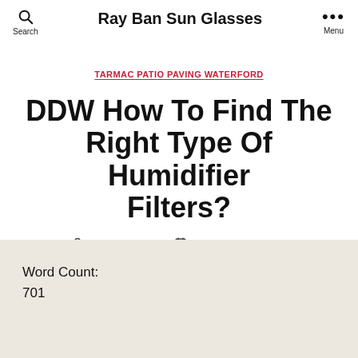Ray Ban Sun Glasses
TARMAC PATIO PAVING WATERFORD
DDW How To Find The Right Type Of Humidifier Filters?
By Nathan Cox  September 15, 2018
Word Count:
701